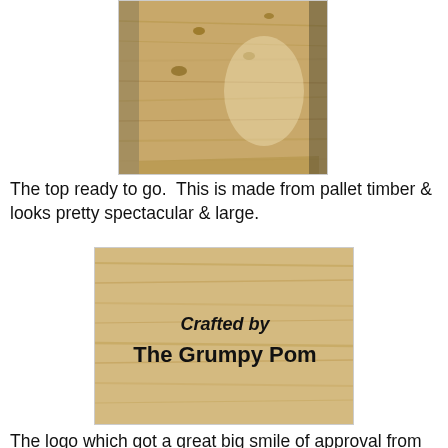[Figure (photo): A close-up photograph of a wooden table top made from pallet timber, showing the natural grain and knots of the light pine wood, viewed from an angle.]
The top ready to go.  This is made from pallet timber & looks pretty spectacular & large.
[Figure (photo): A close-up photograph of the underside of a wooden piece with the text 'Crafted by The Grumpy Pom' hand-painted in black lettering on light pine wood.]
The logo which got a great big smile of approval from the 15 year old. It is a serious logo on a component of the pride of the project.